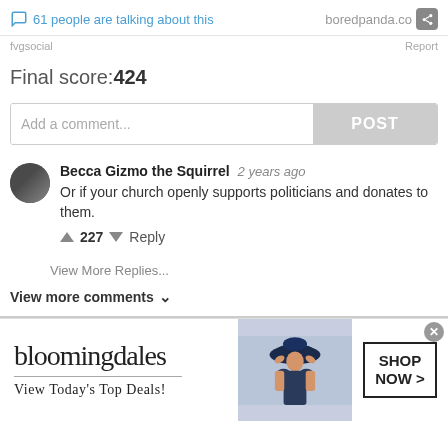61 people are talking about this   boredpanda.com
fvgsocial   Report
Final score:424
Add a comment...   POST
Becca Gizmo the Squirrel  2 years ago
Or if your church openly supports politicians and donates to them.
↑ 227 ↓  Reply
View More Replies...
View more comments ∨
[Figure (screenshot): Bloomingdales advertisement banner with logo, tagline 'View Today's Top Deals!', model photo, and SHOP NOW button]